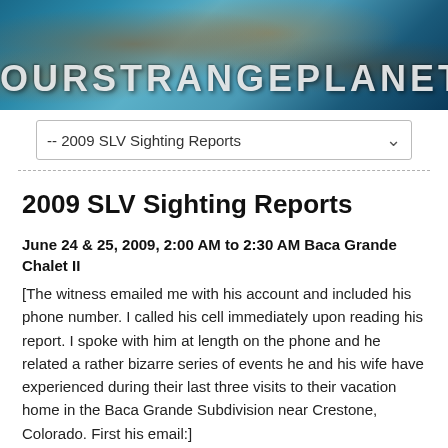[Figure (photo): Website banner/header image with rusted metallic texture and blue tones. Text reads 'OURSTRANGEPLANET' in large stylized white letters.]
-- 2009 SLV Sighting Reports
2009 SLV Sighting Reports
June 24 & 25, 2009, 2:00 AM to 2:30 AM Baca Grande Chalet II
[The witness emailed me with his account and included his phone number. I called his cell immediately upon reading his report. I spoke with him at length on the phone and he related a rather bizarre series of events he and his wife have experienced during their last three visits to their vacation home in the Baca Grande Subdivision near Crestone, Colorado. First his email:]